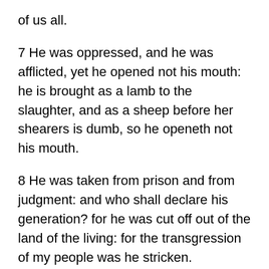of us all.
7 He was oppressed, and he was afflicted, yet he opened not his mouth: he is brought as a lamb to the slaughter, and as a sheep before her shearers is dumb, so he openeth not his mouth.
8 He was taken from prison and from judgment: and who shall declare his generation? for he was cut off out of the land of the living: for the transgression of my people was he stricken.
9 And he made his grave with the wicked,